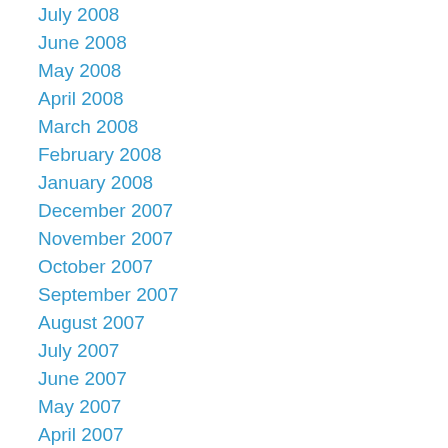July 2008
June 2008
May 2008
April 2008
March 2008
February 2008
January 2008
December 2007
November 2007
October 2007
September 2007
August 2007
July 2007
June 2007
May 2007
April 2007
March 2007
February 2007
January 2007
December 2006